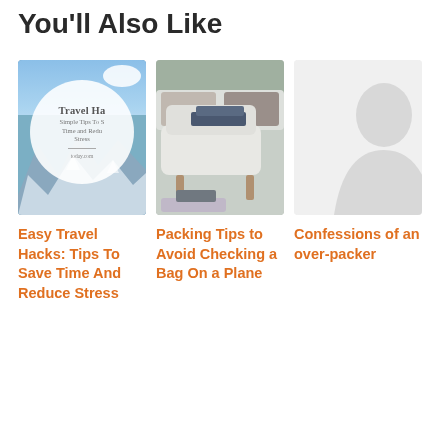You'll Also Like
[Figure (photo): Travel Hacks blog post thumbnail with mountain background and white circle overlay text: Travel Ha... Simple Tips To S... Time and Redu... Stress, today.com]
[Figure (photo): Packing Tips blog post thumbnail showing a bed with folded clothes, a white armchair, and luggage on the floor]
[Figure (photo): Confessions of an over-packer thumbnail with light gray placeholder silhouette]
Easy Travel Hacks: Tips To Save Time And Reduce Stress
Packing Tips to Avoid Checking a Bag On a Plane
Confessions of an over-packer